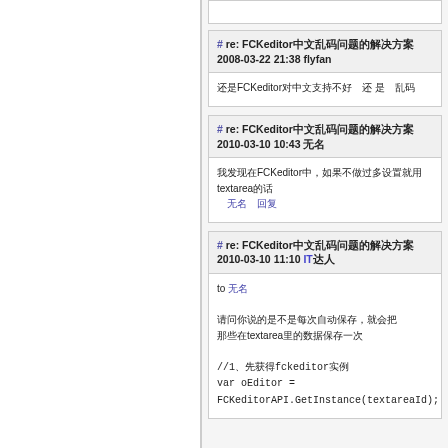# re: FCKeditor中文乱码问题的解决方案 2008-03-22 21:38 flyfan
还是FCKeditor对中文支持不好　还 是　乱码
# re: FCKeditor中文乱码问题的解决方案 2010-03-10 10:43 无名
我发现在FCKeditor中，如果不做过多设置就用textarea的话
　无名　回复
# re: FCKeditor中文乱码问题的解决方案 2010-03-10 11:10 IT达人
to 无名

请问你说的是不是每次自动保存，就会把textarea里的数据保存一次

//1、先获得fckeditor实例
var oEditor =
FCKeditorAPI.GetInstance(textareaId);